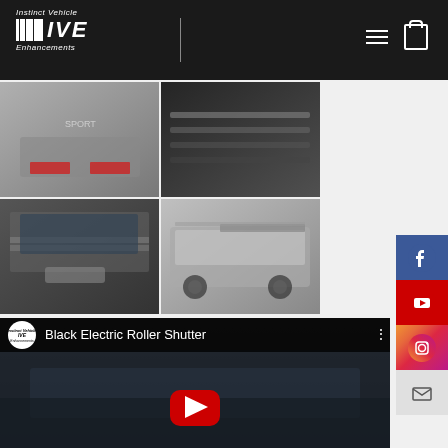Instinct Vehicle IVE Enhancements — navigation header
[Figure (photo): Grid of 4 truck photos showing electric roller shutter covers on pickup trucks — top-left: silver truck rear with red brake lights, top-right: dark close-up of shutter rail, bottom-left: rear view of truck with closed roller shutter, bottom-right: silver Ford Ranger side view with roller shutter and roof rails]
[Figure (screenshot): YouTube video thumbnail titled 'Black Electric Roller Shutter' from Instinct Vehicle IVE Enhancements channel, showing interior/bed of truck with red YouTube play button overlay]